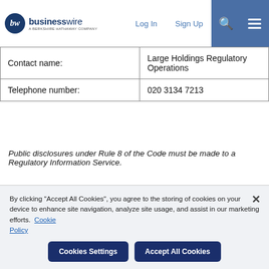businesswire - A Berkshire Hathaway Company | Log In | Sign Up
|  |  |
| --- | --- |
| Contact name: | Large Holdings Regulatory Operations |
| Telephone number: | 020 3134 7213 |
Public disclosures under Rule 8 of the Code must be made to a Regulatory Information Service.
The Panel's Market Surveillance Unit is available for consultation in relation to the Code's disclosure requirements on +44 (0)20 7638 0129.
By clicking "Accept All Cookies", you agree to the storing of cookies on your device to enhance site navigation, analyze site usage, and assist in our marketing efforts. Cookie Policy
Cookies Settings | Accept All Cookies